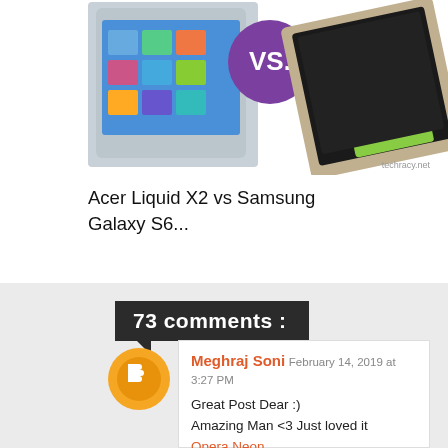[Figure (photo): Comparison image of Acer Liquid X2 vs Samsung Galaxy S6 phones with 'VS.' badge, watermark 'techracy.net']
Acer Liquid X2 vs Samsung Galaxy S6...
73 comments :
Meghraj Soni February 14, 2019 at 3:27 PM
Great Post Dear :)
Amazing Man <3 Just loved it
Opera Neon

acmarket

Jewellery